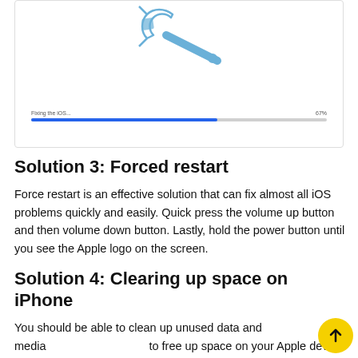[Figure (screenshot): Screenshot of an iOS repair tool interface showing a wrench icon at the top, a progress bar labeled 'Fixing the iOS...' at 67% completion]
Solution 3: Forced restart
Force restart is an effective solution that can fix almost all iOS problems quickly and easily. Quick press the volume up button and then volume down button. Lastly, hold the power button until you see the Apple logo on the screen.
Solution 4: Clearing up space on iPhone
You should be able to clean up unused data and media to free up space on your Apple device. This may also